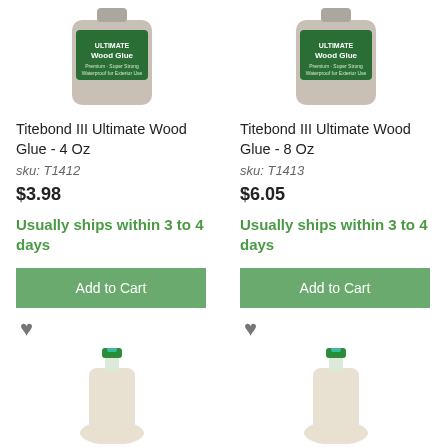[Figure (photo): Titebond III Ultimate Wood Glue 4 Oz bottle - top portion cropped]
[Figure (photo): Titebond III Ultimate Wood Glue 8 Oz bottle - top portion cropped]
Titebond III Ultimate Wood Glue - 4 Oz
sku: T1412
$3.98
Usually ships within 3 to 4 days
Add to Cart
Titebond III Ultimate Wood Glue - 8 Oz
sku: T1413
$6.05
Usually ships within 3 to 4 days
Add to Cart
[Figure (photo): Titebond wood glue bottle with green cap - bottom portion]
[Figure (photo): Titebond wood glue bottle with green cap - bottom portion]